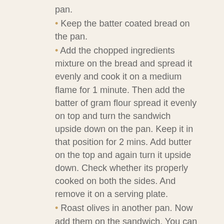pan.
• Keep the batter coated bread on the pan.
• Add the chopped ingredients mixture on the bread and spread it evenly and cook it on a medium flame for 1 minute. Then add the batter of gram flour spread it evenly on top and turn the sandwich upside down on the pan. Keep it in that position for 2 mins. Add butter on the top and again turn it upside down. Check whether its properly cooked on both the sides. And remove it on a serving plate.
• Roast olives in another pan. Now add them on the sandwich. You can eat it with a mint dip or some Tomato sauce.
Favorite ☆